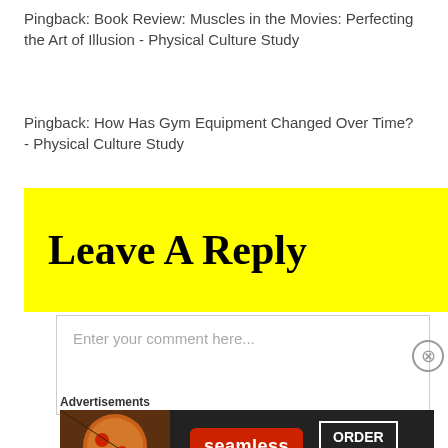Pingback: Book Review: Muscles in the Movies: Perfecting the Art of Illusion - Physical Culture Study
Pingback: How Has Gym Equipment Changed Over Time? - Physical Culture Study
Leave A Reply
Enter your comment here...
Advertisements
[Figure (screenshot): Seamless pizza ad banner with 'ORDER NOW' button]